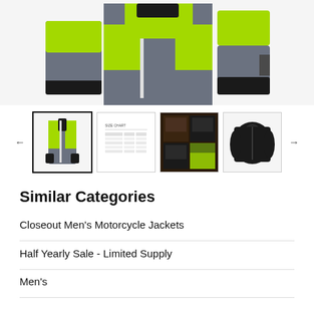[Figure (photo): Hi-visibility motorcycle jacket in neon yellow/green and gray, shown from back/front, cropped view of torso area]
[Figure (photo): Thumbnail row with 4 product images: front view of jacket (selected), size chart, detail collage, black jacket front]
Similar Categories
Closeout Men's Motorcycle Jackets
Half Yearly Sale - Limited Supply
Men's